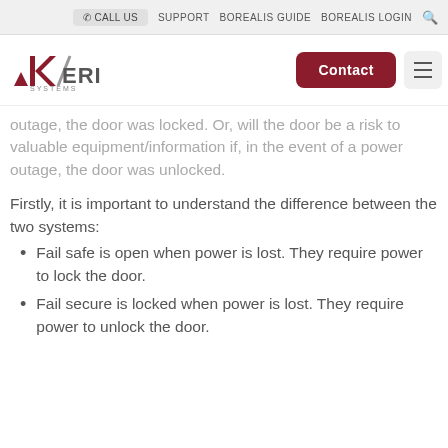CALL US   SUPPORT   BOREALIS GUIDE   BOREALIS LOGIN
[Figure (logo): Keri Systems logo with stylized K and triangle mark]
outage, the door was locked. Or, will the door be a risk to valuable equipment/information if, in the event of a power outage, the door was unlocked.
Firstly, it is important to understand the difference between the two systems:
Fail safe is open when power is lost. They require power to lock the door.
Fail secure is locked when power is lost. They require power to unlock the door.